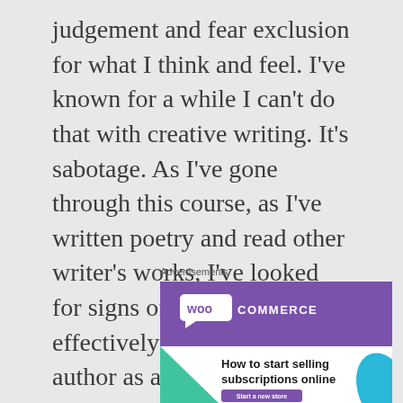judgement and fear exclusion for what I think and feel. I've known for a while I can't do that with creative writing. It's sabotage. As I've gone through this course, as I've written poetry and read other writer's works, I've looked for signs of writing which effectively draw out the author as a real human.
Advertisements
[Figure (infographic): WooCommerce advertisement banner with purple background showing WooCommerce logo at top, a teal triangle shape on the left, a cyan leaf shape on the right, and text reading 'How to start selling subscriptions online' with a purple 'Start a new store' button at the bottom.]